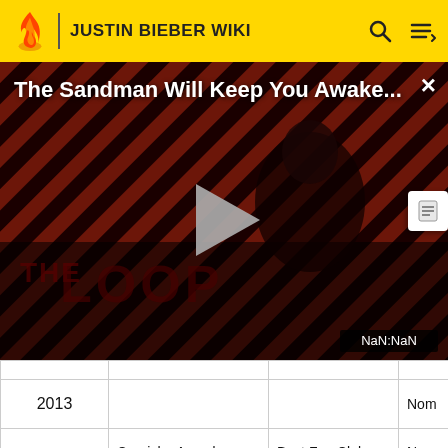JUSTIN BIEBER WIKI
[Figure (screenshot): Video player thumbnail showing 'The Sandman Will Keep You Awake...' with a dark-clad figure against a red and black striped background, THE LOOP logo, play button, close button (×), and NaN:NaN timestamp]
| Year | Award | Category | Result |
| --- | --- | --- | --- |
| 2013 |  |  | Nom |
|  | Capricho Awards | Best Fan Club | Nom |
|  | O Music Awards | Fan Army FTW | Nom |
|  | People's Choice... | Favorite Fan... | No... |